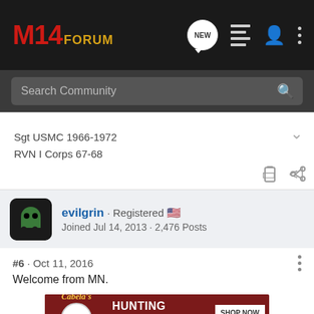M14 FORUM
Search Community
Sgt USMC 1966-1972
RVN I Corps 67-68
evilgrin · Registered
Joined Jul 14, 2013 · 2,476 Posts
#6 · Oct 11, 2016
Welcome from MN.
[Figure (screenshot): Cabela's Hunting Clearance ad banner with BARGAIN CAVE circle and SHOP NOW button]